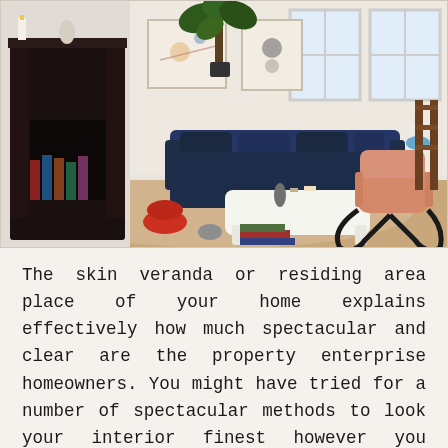[Figure (photo): Interior living room photo showing a navy blue sofa with dark cushions, a white marble coffee table with books underneath, a pink rocking chair with dark curved metal frame, a dark ornate fireplace on the left, framed artwork on the walls, a large fiddle-leaf fig plant, and wooden floors with a natural rug. The room has a bright, airy feel with windows letting in natural light.]
The skin veranda or residing area place of your home explains effectively how much spectacular and clear are the property enterprise homeowners. You might have tried for a number of spectacular methods to look your interior finest however you probably have overviewed your residing house place, it should narrate the whole story. It's essential to take correct